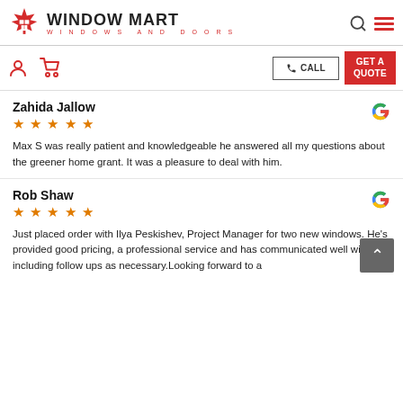[Figure (logo): Window Mart Windows and Doors logo with red maple leaf and house icon, company name in bold black, tagline in red]
[Figure (screenshot): Navigation bar with person icon, cart icon, CALL button, and GET A QUOTE red button]
Zahida Jallow
★★★★★
Max S was really patient and knowledgeable he answered all my questions about the greener home grant. It was a pleasure to deal with him.
Rob Shaw
★★★★★
Just placed order with Ilya Peskishev, Project Manager for two new windows. He's provided good pricing, a professional service and has communicated well with us including follow ups as necessary.Looking forward to a